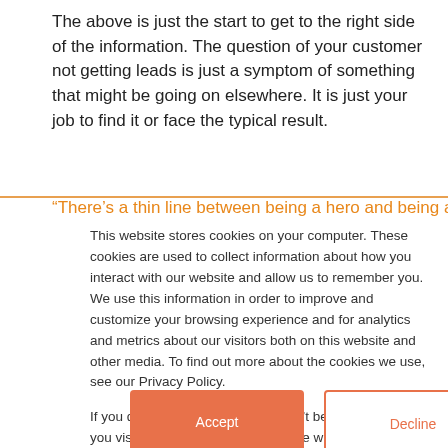The above is just the start to get to the right side of the information. The question of your customer not getting leads is just a symptom of something that might be going on elsewhere. It is just your job to find it or face the typical result.
“There’s a thin line between being a hero and being a
This website stores cookies on your computer. These cookies are used to collect information about how you interact with our website and allow us to remember you. We use this information in order to improve and customize your browsing experience and for analytics and metrics about our visitors both on this website and other media. To find out more about the cookies we use, see our Privacy Policy.

If you decline, your information won’t be tracked when you visit this website. A single cookie will be used in your browser to remember your preference not to be tracked.
Accept
Decline